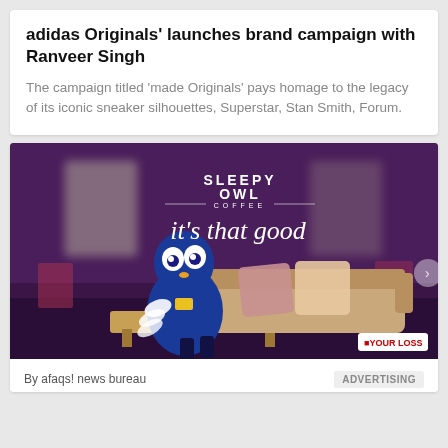adidas Originals’ launches brand campaign with Ranveer Singh
The campaign titled ‘made Originals’ pays homage to the legacy of its iconic sneaker silhouettes, Superstar, Stan Smith, Forum.
[Figure (photo): Sleepy Owl Coffee advertisement showing a blue owl mascot lying on a couch in a living room setting. Text reads 'SLEEPY OWL COFFEE it’s that good'. A 'YOUR LOSS' badge is visible in the bottom right.]
By afaqs! news bureau
ADVERTISING